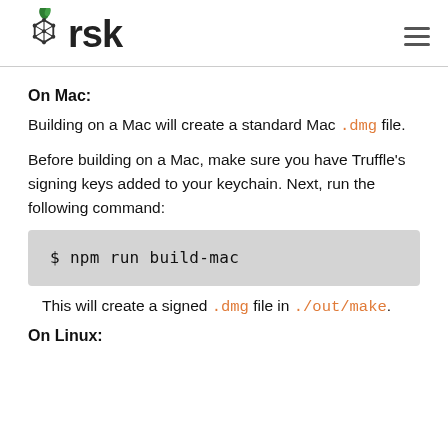rsk
On Mac:
Building on a Mac will create a standard Mac .dmg file.
Before building on a Mac, make sure you have Truffle’s signing keys added to your keychain. Next, run the following command:
$ npm run build-mac
This will create a signed .dmg file in ./out/make.
On Linux: